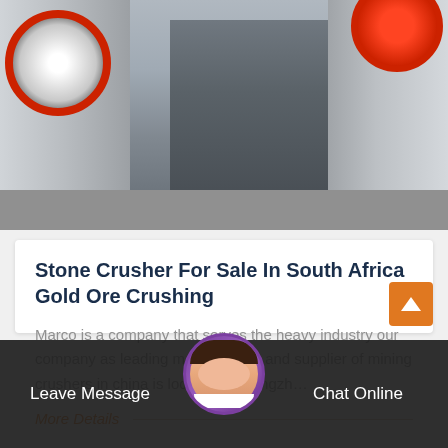[Figure (photo): Industrial stone crushing machinery on a factory floor, showing large crushers, flywheels with red accents, and white industrial equipment]
Stone Crusher For Sale In South Africa Gold Ore Crushing
Marco is a company that serves the heavy industry our company as leading manufacturer and supplier of mining crushers in china is located in zhengzh...
More Details
Leave Message   Chat Online